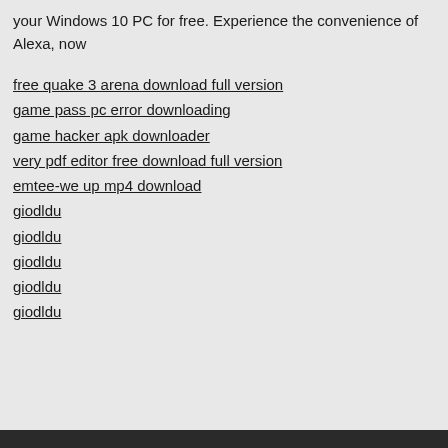your Windows 10 PC for free. Experience the convenience of Alexa, now
free quake 3 arena download full version
game pass pc error downloading
game hacker apk downloader
very pdf editor free download full version
emtee-we up mp4 download
giodldu
giodldu
giodldu
giodldu
giodldu